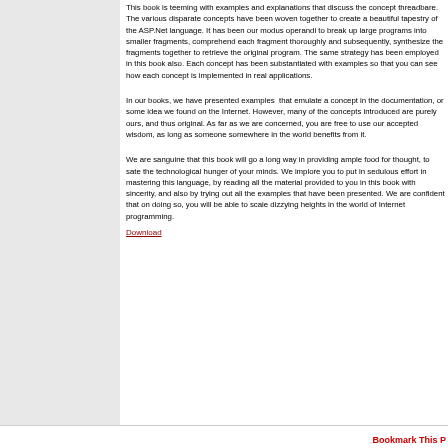This book is teeming with examples and explanations that discuss concept threadbare. The various disparate concepts have been together to create a beautiful tapestry of the ASP.Net language. It has been our modus operandi to break up large programs into smaller comprehend each fragment thoroughly and subsequently, synthesize fragments together to retrieve the original program. The same strategy has been employed in this book also. Each concept has been substantiated with examples so that you can see how each concept is implemented in real applications.
In our books, we have presented examples that emulate a concept in the documentation, or some idea we found on the Internet. However, of the concepts introduced are purely ours, and thus original. As far as concerned, you are free to use our accepted wisdom, as long as somewhere in the world benefits from it.
We are sanguine that this book will go a long way in providing ample food for thought, to sate the technological hunger of your minds. We implore you to put in sedulous effort in mastering this language, by reading all the material provided to you in this book with sincerity, and also by trying out all the examples that have been presented. We are confident that on doing so, you will be able to scale dizzying heights in the world of Internet programming.
Download
Bookmark This Page